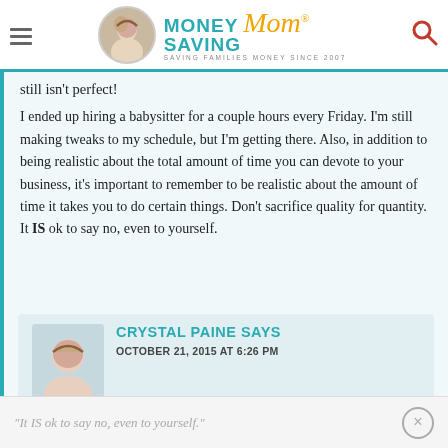Money Saving Mom® — Saving Families Money Since 2007
still isn't perfect!
I ended up hiring a babysitter for a couple hours every Friday. I'm still making tweaks to my schedule, but I'm getting there. Also, in addition to being realistic about the total amount of time you can devote to your business, it's important to remember to be realistic about the amount of time it takes you to do certain things. Don't sacrifice quality for quantity. It IS ok to say no, even to yourself.
CRYSTAL PAINE SAYS
OCTOBER 21, 2015 AT 6:26 PM
"It IS ok to say no, even to yourself."